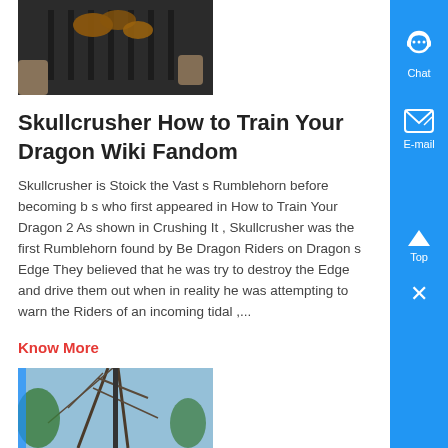[Figure (photo): A close-up photo of what appears to be a BBQ grill with food on it, viewed from above with hands visible.]
Skullcrusher How to Train Your Dragon Wiki Fandom
Skullcrusher is Stoick the Vast s Rumblehorn before becoming b s who first appeared in How to Train Your Dragon 2 As shown in Crushing It , Skullcrusher was the first Rumblehorn found by Be Dragon Riders on Dragon s Edge They believed that he was try to destroy the Edge and drive them out when in reality he was attempting to warn the Riders of an incoming tidal ,...
Know More
[Figure (photo): A photo showing what appears to be power lines or rigging on a structure.]